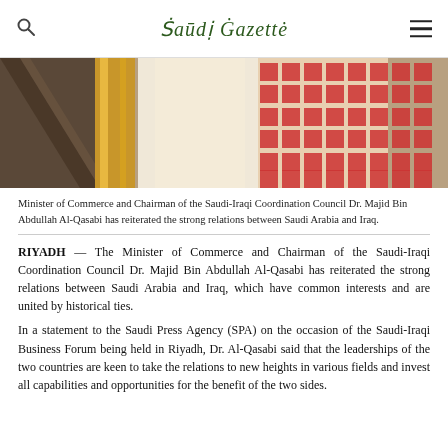Saudi Gazette
[Figure (photo): Close-up photograph of men wearing traditional Saudi and Arab headdress (keffiyeh/ghutra) in red-and-white checkered and white patterns with gold trim]
Minister of Commerce and Chairman of the Saudi-Iraqi Coordination Council Dr. Majid Bin Abdullah Al-Qasabi has reiterated the strong relations between Saudi Arabia and Iraq.
RIYADH — The Minister of Commerce and Chairman of the Saudi-Iraqi Coordination Council Dr. Majid Bin Abdullah Al-Qasabi has reiterated the strong relations between Saudi Arabia and Iraq, which have common interests and are united by historical ties.
In a statement to the Saudi Press Agency (SPA) on the occasion of the Saudi-Iraqi Business Forum being held in Riyadh, Dr. Al-Qasabi said that the leaderships of the two countries are keen to take the relations to new heights in various fields and invest all capabilities and opportunities for the benefit of the two sides.